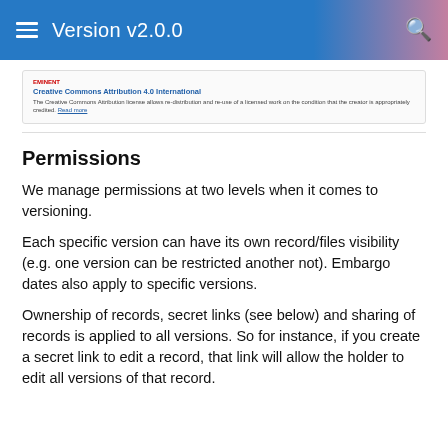Version v2.0.0
[Figure (screenshot): A small snippet/card showing 'Creative Commons Attribution 4.0 International' license text with a 'Read more' link, inside a bordered box.]
Permissions
We manage permissions at two levels when it comes to versioning.
Each specific version can have its own record/files visibility (e.g. one version can be restricted another not). Embargo dates also apply to specific versions.
Ownership of records, secret links (see below) and sharing of records is applied to all versions. So for instance, if you create a secret link to edit a record, that link will allow the holder to edit all versions of that record.